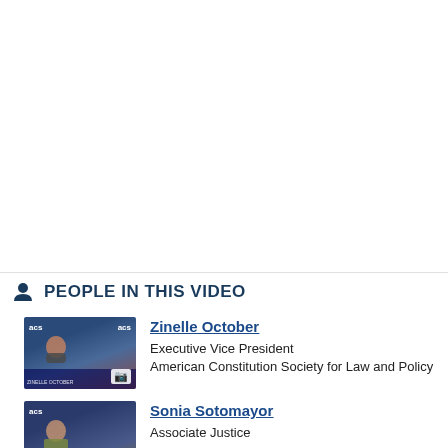PEOPLE IN THIS VIDEO
[Figure (photo): Thumbnail of Zinelle October speaking at ACS event, wearing a mask, with camera icon overlay]
Zinelle October
Executive Vice President
American Constitution Society for Law and Policy
[Figure (photo): Thumbnail of Sonia Sotomayor at ACS event with camera icon overlay]
Sonia Sotomayor
Associate Justice